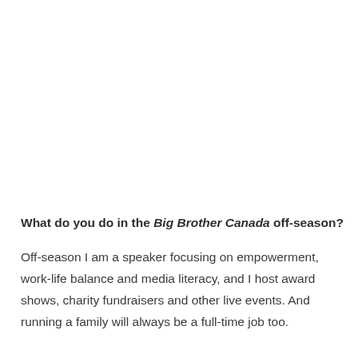What do you do in the Big Brother Canada off-season?
Off-season I am a speaker focusing on empowerment, work-life balance and media literacy, and I host award shows, charity fundraisers and other live events. And running a family will always be a full-time job too.